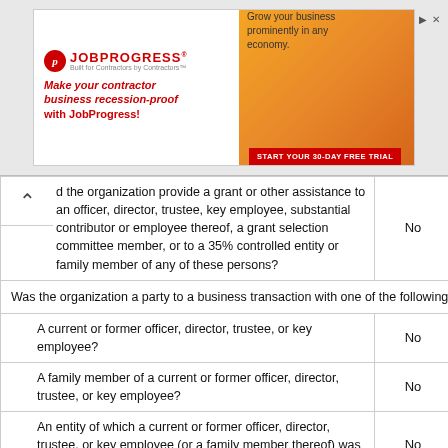[Figure (screenshot): Advertisement banner for JobProgress contractor business software, showing logo, headline 'Make your contractor business recession-proof with JobProgress!', and image of a man in a hard hat and orange vest.]
| Question | Col1 | Col2 |
| --- | --- | --- |
| ...d the organization provide a grant or other assistance to an officer, director, trustee, key employee, substantial contributor or employee thereof, a grant selection committee member, or to a 35% controlled entity or family member of any of these persons? | No | No |
| Was the organization a party to a business transaction with one of the following parties |  |  |
| A current or former officer, director, trustee, or key employee? | No | No |
| A family member of a current or former officer, director, trustee, or key employee? | No | No |
| An entity of which a current or former officer, director, trustee, or key employee (or a family member thereof) was an officer, director, trustee, or direct or indirect owner? | No | No |
| Did the organization receive more than $25,000 in non-cash contributions? | Yes | Yes |
| Did the organization receive contributions of art, historical... |  |  |